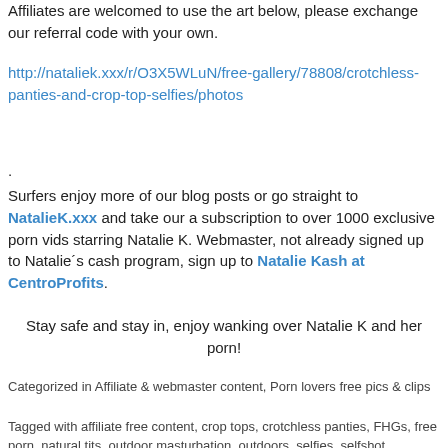Affiliates are welcomed to use the art below, please exchange our referral code with your own.
http://nataliek.xxx/r/O3X5WLuN/free-gallery/78808/crotchless-panties-and-crop-top-selfies/photos
.
Surfers enjoy more of our blog posts or go straight to NatalieK.xxx and take our a subscription to over 1000 exclusive porn vids starring Natalie K. Webmaster, not already signed up to Natalie´s cash program, sign up to Natalie Kash at CentroProfits.
Stay safe and stay in, enjoy wanking over Natalie K and her porn!
Categorized in Affiliate & webmaster content, Porn lovers free pics & clips
Tagged with affiliate free content, crop tops, crotchless panties, FHGs, free porn, natural tits, outdoor masturbation, outdoors, selfies, selfshot